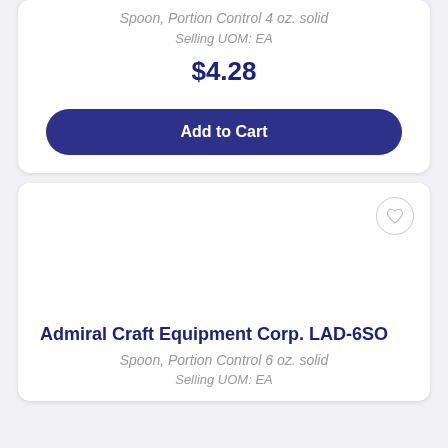Spoon, Portion Control 4 oz. solid
Selling UOM: EA
$4.28
Add to Cart
[Figure (other): Product image placeholder area with heart/wishlist icon button in top right corner]
Admiral Craft Equipment Corp. LAD-6SO
Spoon, Portion Control 6 oz. solid
Selling UOM: EA